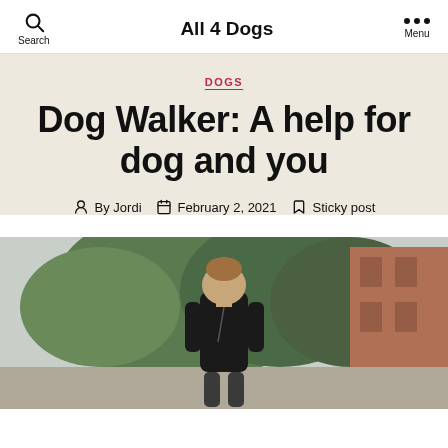All 4 Dogs
DOGS
Dog Walker: A help for dog and you
By Jordi   February 2, 2021   Sticky post
[Figure (photo): Woman in black t-shirt walking outdoors with trees and a brick building in the background]